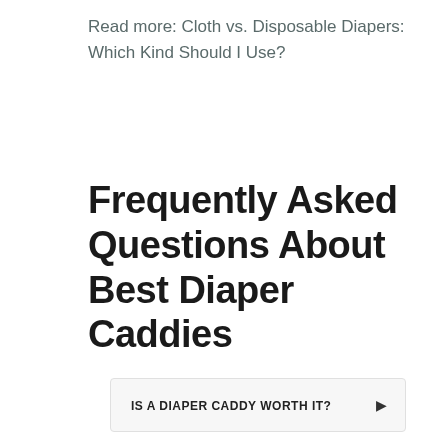Read more: Cloth vs. Disposable Diapers: Which Kind Should I Use?
Frequently Asked Questions About Best Diaper Caddies
IS A DIAPER CADDY WORTH IT?